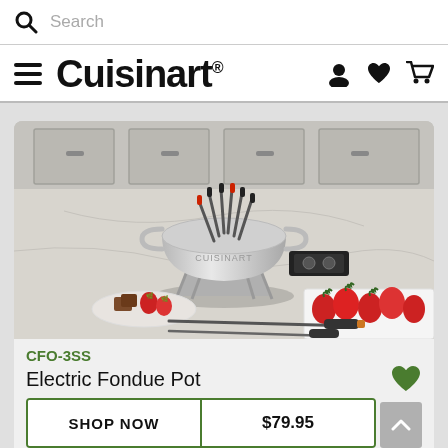Search
Cuisinart®
[Figure (photo): Stainless steel electric fondue pot on a marble countertop with fondue forks inserted, surrounded by strawberries and chocolate pieces on a plate.]
CFO-3SS
Electric Fondue Pot
SHOP NOW | $79.95